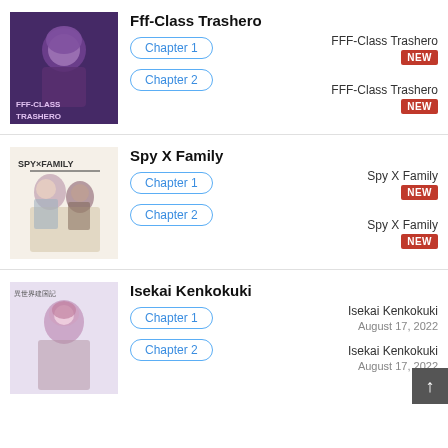[Figure (illustration): Cover art for Fff-Class Trashero manga, dark purple tones with character]
Fff-Class Trashero
Chapter 1 — FFF-Class Trashero — NEW
Chapter 2 — FFF-Class Trashero — NEW
[Figure (illustration): Cover art for Spy X Family manga, light background with characters]
Spy X Family
Chapter 1 — Spy X Family — NEW
Chapter 2 — Spy X Family — NEW
[Figure (illustration): Cover art for Isekai Kenkokuki manga, character with pink/purple tones]
Isekai Kenkokuki
Chapter 1 — Isekai Kenkokuki — August 17, 2022
Chapter 2 — Isekai Kenkokuki — August 17, 2022